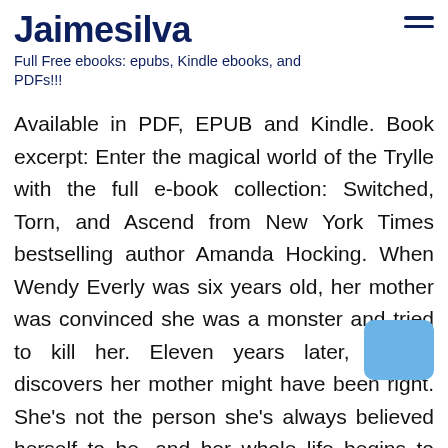Jaimesilva
Full Free ebooks: epubs, Kindle ebooks, and PDFs!!!
Available in PDF, EPUB and Kindle. Book excerpt: Enter the magical world of the Trylle with the full e-book collection: Switched, Torn, and Ascend from New York Times bestselling author Amanda Hocking. When Wendy Everly was six years old, her mother was convinced she was a monster and tried to kill her. Eleven years later, Wendy discovers her mother might have been right. She's not the person she's always believed herself to be, and her whole life begins to unravel—all because of Finn Holmes. Finn is a mysterious guy who always seems to be watching her. Every encounter leaves her deeply shaken...though it has more to do with her fierce attraction to him than anything else. But it is the...